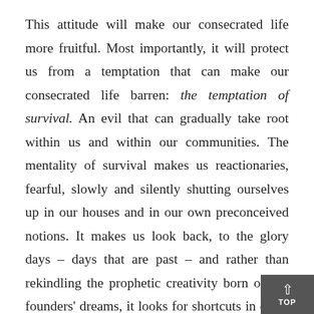This attitude will make our consecrated life more fruitful. Most importantly, it will protect us from a temptation that can make our consecrated life barren: the temptation of survival. An evil that can gradually take root within us and within our communities. The mentality of survival makes us reactionaries, fearful, slowly and silently shutting ourselves up in our houses and in our own preconceived notions. It makes us look back, to the glory days – days that are past – and rather than rekindling the prophetic creativity born of our founders' dreams, it looks for shortcuts in order to evade the challenges knocking on our doors today. A survival mentality robs our charisms of power, because it leads us to “domesticate” them, to make them “user friendly”, robbing them of their original creative force. It